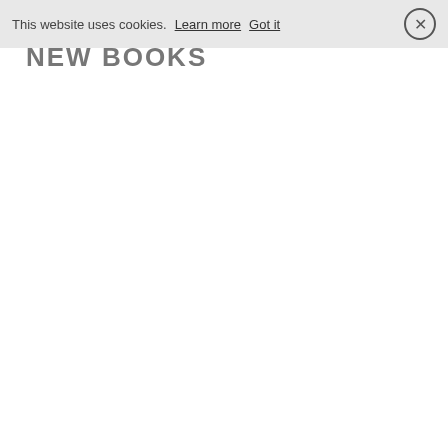This website uses cookies. Learn more  Got it
NEW BOOKS